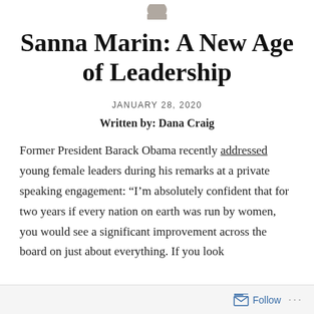[Figure (logo): Small circular icon/avatar at top center]
Sanna Marin: A New Age of Leadership
JANUARY 28, 2020
Written by: Dana Craig
Former President Barack Obama recently addressed young female leaders during his remarks at a private speaking engagement: “I’m absolutely confident that for two years if every nation on earth was run by women, you would see a significant improvement across the board on just about everything. If you look
Follow …